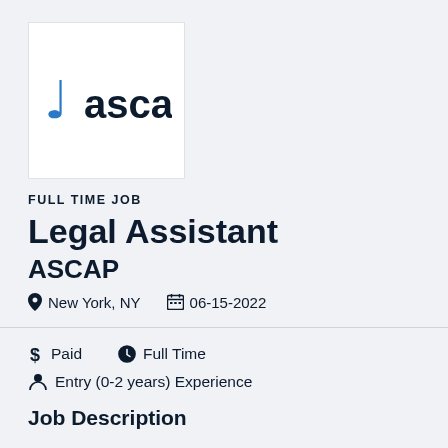[Figure (logo): ASCAP logo with blue music note and lowercase 'ascap' text]
FULL TIME JOB
Legal Assistant
ASCAP
New York, NY   06-15-2022
$ Paid   Full Time
Entry (0-2 years) Experience
Job Description